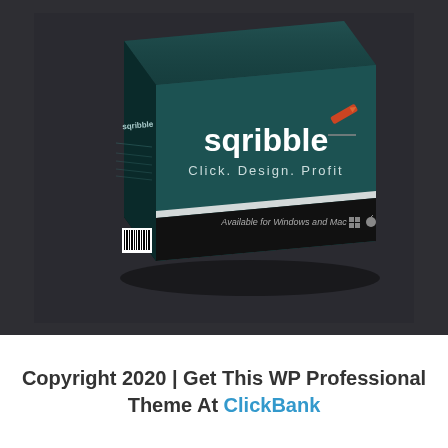[Figure (illustration): 3D product box for 'Sqribble' software. The box is teal/dark green with white text reading 'sqribble' and an orange pencil/checkmark logo, subtitle 'Click. Design. Profit'. The side panel shows the sqribble logo and small text. The bottom of the box is black with text 'Available for Windows and Mac' and Windows/Apple icons, plus a barcode on the side.]
Copyright 2020 | Get This WP Professional Theme At ClickBank